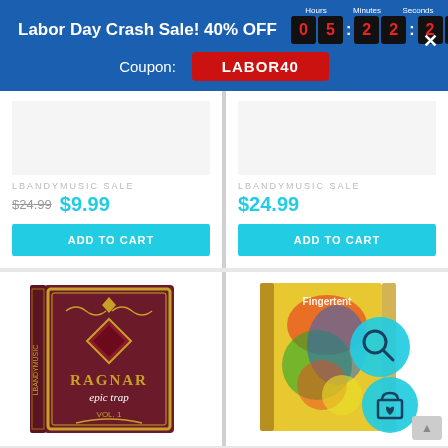Labor Day Crash Sale! 40% OFF  05:22:25
Coupon: LABOR40
LBANDYMUSIC SALE
$24.99 $9.99
ADD TO CART
LBANDYMUSIC SALE
$24.99
ADD TO CART
[Figure (photo): Ragnar Epic Trap Vol. 1 product box with ornate dark red and gold design]
[Figure (photo): Colorful music product box with search and shopping bag overlay icons]